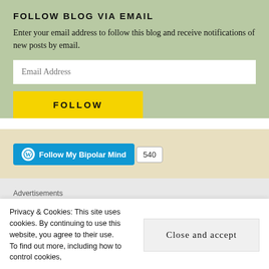FOLLOW BLOG VIA EMAIL
Enter your email address to follow this blog and receive notifications of new posts by email.
Email Address
FOLLOW
[Figure (other): WordPress Follow button widget showing 'Follow My Bipolar Mind' with follower count 540]
Advertisements
[Figure (other): Orange advertisement banner with phone shape]
Privacy & Cookies: This site uses cookies. By continuing to use this website, you agree to their use.
To find out more, including how to control cookies,
Close and accept